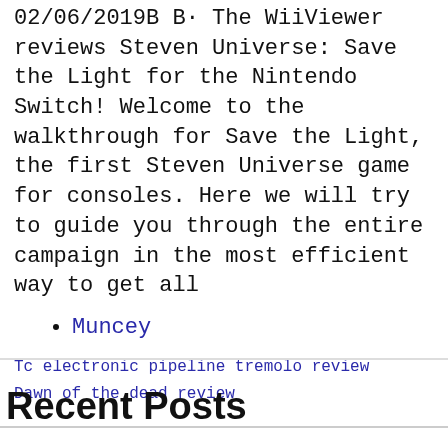02/06/2019В В· The WiiViewer reviews Steven Universe: Save the Light for the Nintendo Switch! Welcome to the walkthrough for Save the Light, the first Steven Universe game for consoles. Here we will try to guide you through the entire campaign in the most efficient way to get all
Muncey
Tc electronic pipeline tremolo review
Dawn of the dead review
Recent Posts